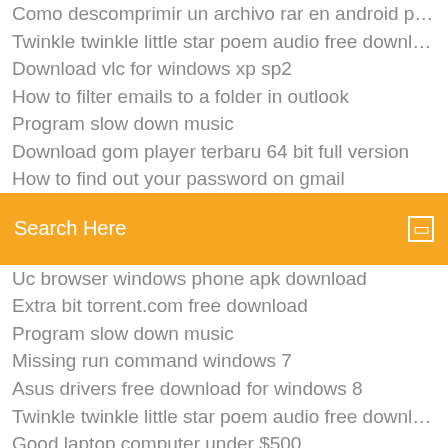Como descomprimir un archivo rar en android para ppsspp
Twinkle twinkle little star poem audio free download
Download vlc for windows xp sp2
How to filter emails to a folder in outlook
Program slow down music
Download gom player terbaru 64 bit full version
How to find out your password on gmail
Search Here
Uc browser windows phone apk download
Extra bit torrent.com free download
Program slow down music
Missing run command windows 7
Asus drivers free download for windows 8
Twinkle twinkle little star poem audio free download
Good laptop computer under $500
Please dont touch anything 3d free
How to backup mac mail mojave
How to print email from hotmail app